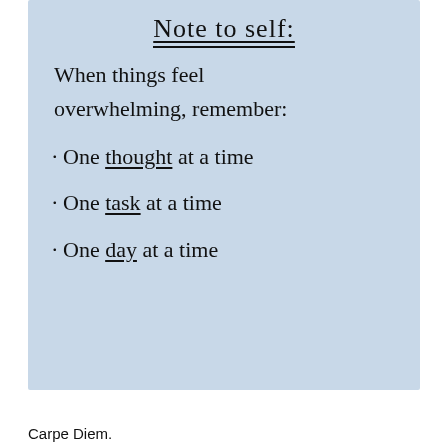[Figure (illustration): Handwritten note on light blue background. Title 'Note to self:' underlined. Body text: 'When things feel overwhelming, remember:'. Bullet list: '. One thought at a time', '. One task at a time', '. One day at a time' with 'thought', 'task', and 'day' underlined.]
Carpe Diem.